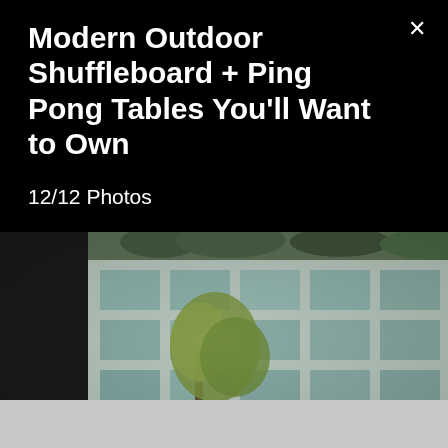Modern Outdoor Shuffleboard + Ping Pong Tables You'll Want to Own
12/12 Photos
[Figure (photo): Outdoor urban scene viewed through a window or opening; a multi-story building with large windows and a tree with yellow-green leaves in the foreground; a dark stone pillar or wall on the right side; two small figures visible at the base; blurred reflection visible at the bottom.]